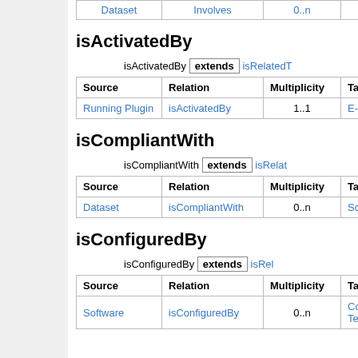| Dataset | Involves | 0..n | Actor |
| --- | --- | --- | --- |
| Dataset | Involves | 0..n | Actor |
isActivatedBy
isActivatedBy extends isRelatedT...
| Source | Relation | Multiplicity | Target |
| --- | --- | --- | --- |
| Running Plugin | isActivatedBy | 1..1 | E-Service |
isCompliantWith
isCompliantWith extends isRelat...
| Source | Relation | Multiplicity | Target |
| --- | --- | --- | --- |
| Dataset | isCompliantWith | 0..n | Schem... |
isConfiguredBy
isConfiguredBy extends isRel...
| Source | Relation | Multiplicity | Target |
| --- | --- | --- | --- |
| Software | isConfiguredBy | 0..n | Config... Templa... |